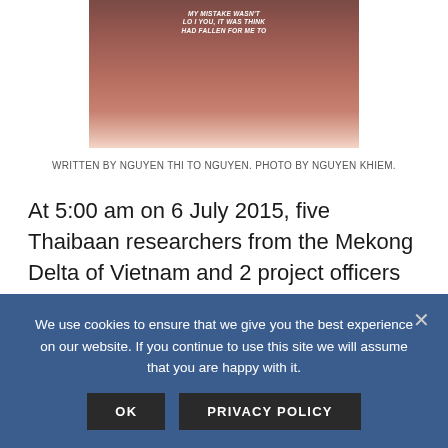[Figure (photo): Partial photo of a person wearing a dark red/maroon shirt with white printed text visible on the front. Only the torso is visible, cropped at top and bottom.]
WRITTEN BY NGUYEN THI TO NGUYEN. PHOTO BY NGUYEN KHIEM.
At 5:00 am on 6 July 2015, five Thaibaan researchers from the Mekong Delta of Vietnam and 2 project officers of the Center for Water Resources Conservation and Development (WARECOD) got on a bus leaving Da Nang (Vietnam). The group
We use cookies to ensure that we give you the best experience on our website. If you continue to use this site we will assume that you are happy with it.
OK
PRIVACY POLICY